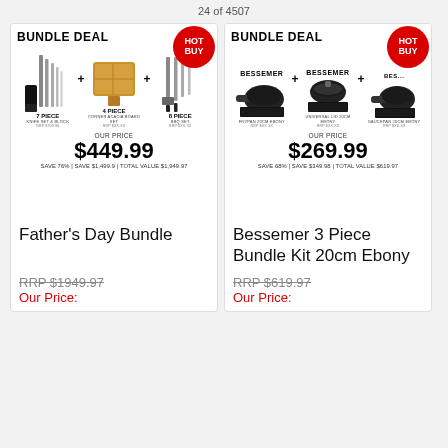24 of 4507
[Figure (photo): Father's Day Bundle product image showing knife set, cutting board, and BBQ tools with BUNDLE DEAL HOT BUY badge, price $449.99, SAVE 76% | SAVE $1,499.9 | TOTAL VALUE $1,949.97]
Father's Day Bundle
RRP $1949.97
Our Price:
[Figure (photo): Bessemer 3 Piece Bundle Kit 20cm Ebony product image showing cookware pans with BUNDLE DEAL HOT BUY badge, price $269.99, SAVE 68% | SAVE $349.98 | TOTAL VALUE $619.97]
Bessemer 3 Piece Bundle Kit 20cm Ebony
RRP $619.97
Our Price: